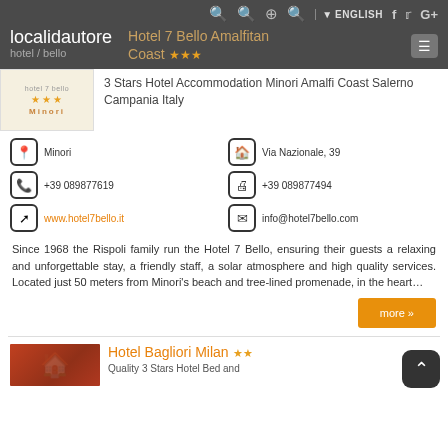localidautore — Hotel 7 Bello Amalfitan Coast ★★★
[Figure (screenshot): Hotel 7 Bello logo with three stars and Minori text on light background]
Hotel 7 Bello Amalfitan Coast ★★★
3 Stars Hotel Accommodation Minori Amalfi Coast Salerno Campania Italy
Minori | Via Nazionale, 39
+39 089877619 | +39 089877494
www.hotel7bello.it | info@hotel7bello.com
Since 1968 the Rispoli family run the Hotel 7 Bello, ensuring their guests a relaxing and unforgettable stay, a friendly staff, a solar atmosphere and high quality services. Located just 50 meters from Minori's beach and tree-lined promenade, in the heart…
more »
Hotel Bagliori Milan ★★
Quality 3 Stars Hotel Bed and